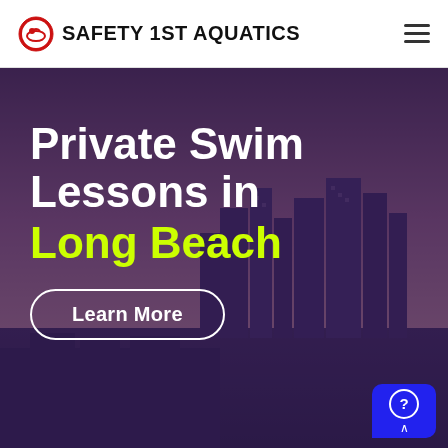Safety 1st Aquatics
[Figure (photo): City skyline at dusk with a purple-tinted overlay showing Long Beach urban landscape]
Private Swim Lessons in Long Beach
Learn More